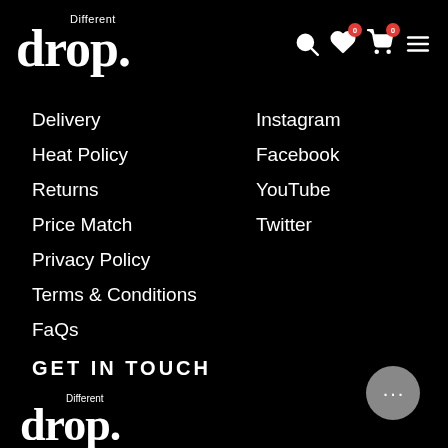Different drop. — navigation header with search, wishlist (0), cart (0), and menu icons
Delivery
Heat Policy
Returns
Price Match
Privacy Policy
Terms & Conditions
FaQs
Instagram
Facebook
YouTube
Twitter
GET IN TOUCH
[Figure (logo): Different drop. logo at bottom left]